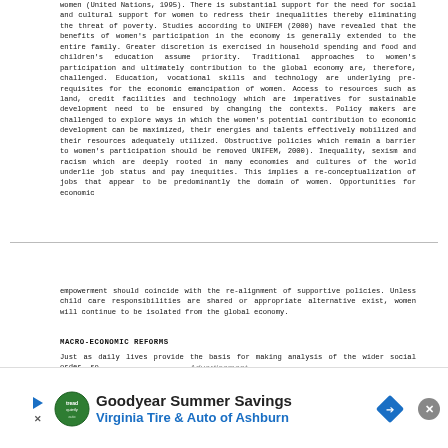women (United Nations, 1995).  There is substantial support for the need for social and cultural support for women to redress their inequalities thereby  eliminating the threat of poverty.   Studies according to UNIFEM (2000) have revealed that the benefits of women's participation in the economy is generally extended to the entire family.  Greater discretion is exercised in household spending and food and children's education assume priority.   Traditional approaches to women's participation and ultimately contribution to the global economy are, therefore, challenged.   Education, vocational skills and technology are underlying pre-requisites for the economic emancipation of women. Access to resources such as land, credit facilities and technology which are imperatives for sustainable development need to be ensured by changing the contexts.    Policy makers are challenged to explore ways in which the women's potential contribution to economic development can be maximized, their energies and talents effectively mobilized and their resources adequately utilized.  Obstructive policies which remain a barrier to women's participation should be removed UNIFEM, 2000).  Inequality, sexism and racism which are deeply rooted in many economies and cultures of the world underlie job status and pay inequities.  This implies a re-conceptualization of jobs that appear to be predominantly the domain of women.  Opportunities for economic
empowerment should coincide with the re-alignment of supportive policies.  Unless child care responsibilities are shared or appropriate alternative exist, women will continue to be isolated from the global economy.
MACRO-ECONOMIC REFORMS
Just as daily lives provide the basis for making analysis of the wider social order, so
[Figure (infographic): Goodyear Summer Savings advertisement banner with Tread Quietly auto logo, play button, Virginia Tire & Auto of Ashburn text, and a blue diamond road sign icon. Advertisement label shown above banner. Close button (X) in dark circle on right side.]